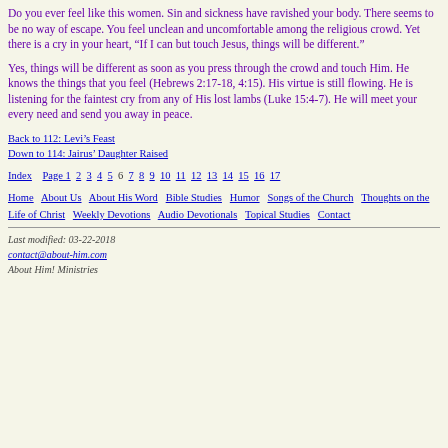Do you ever feel like this women. Sin and sickness have ravished your body. There seems to be no way of escape. You feel unclean and uncomfortable among the religious crowd. Yet there is a cry in your heart, “If I can but touch Jesus, things will be different.”
Yes, things will be different as soon as you press through the crowd and touch Him. He knows the things that you feel (Hebrews 2:17-18, 4:15). His virtue is still flowing. He is listening for the faintest cry from any of His lost lambs (Luke 15:4-7). He will meet your every need and send you away in peace.
Back to 112: Levi’s Feast
Down to 114: Jairus’ Daughter Raised
Index   Page 1 2 3 4 5 6 7 8 9 10 11 12 13 14 15 16 17
Home  About Us  About His Word  Bible Studies  Humor  Songs of the Church  Thoughts on the Life of Christ  Weekly Devotions  Audio Devotionals  Topical Studies  Contact
Last modified: 03-22-2018
contact@about-him.com
About Him! Ministries